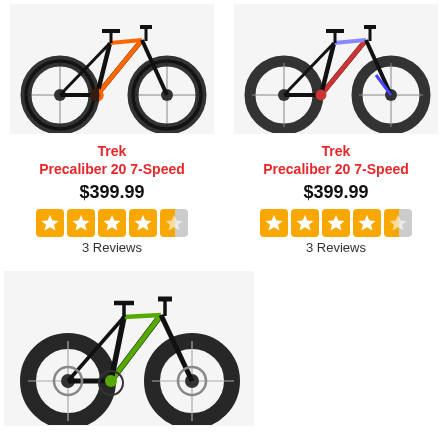[Figure (photo): Black Trek Precaliber 20 7-Speed kids bike with orange/yellow accents, left side view]
[Figure (photo): Black Trek Precaliber 20 7-Speed kids bike with pink/purple/blue accents, left side view]
Trek
Precaliber 20 7-Speed
$399.99
[Figure (other): 4.5 out of 5 stars rating (5 orange star squares, last one half filled)]
3 Reviews
Trek
Precaliber 20 7-Speed
$399.99
[Figure (other): 4.5 out of 5 stars rating (5 orange star squares, last one half filled)]
3 Reviews
[Figure (photo): Black Trek kids mountain bike with green/yellow accents and fat tires/disc brakes, left side view]